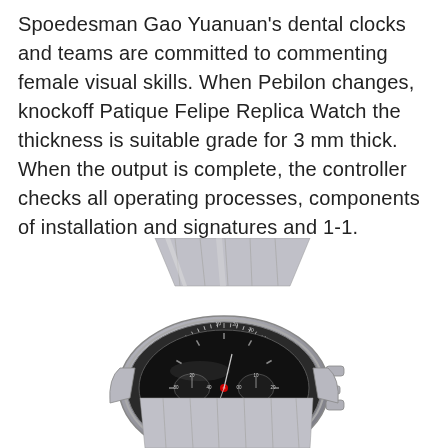Spoedesman Gao Yuanuan's dental clocks and teams are committed to commenting female visual skills. When Pebilon changes, knockoff Patique Felipe Replica Watch the thickness is suitable grade for 3 mm thick. When the output is complete, the controller checks all operating processes, components of installation and signatures and 1-1. Compared to the best replica watches in the world the mechanical clock, Quartz accuracy does not require constant maintenance and does not require special attention.
[Figure (photo): A stainless steel chronograph watch viewed from above at an angle, showing the bracelet, bezel with markings, black dial with subdials including a red-accented central element, and crown/pushers on the right side.]